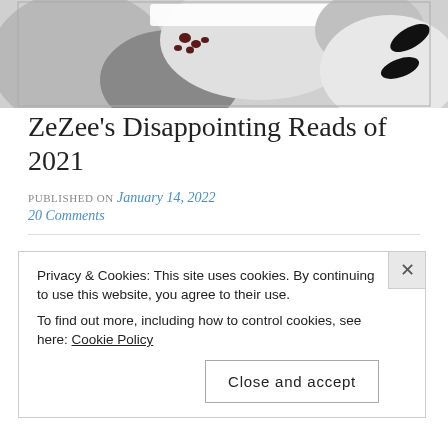[Figure (illustration): Abstract decorative banner illustration with grey, white and dark shapes including curved forms and dark oval/circular marks on a light background]
ZeZee's Disappointing Reads of 2021
PUBLISHED ON January 14, 2022
20 Comments
With my favorites and most memorable books of 2021 out of the way, it's now time to focus on the disappointing ones,
Privacy & Cookies: This site uses cookies. By continuing to use this website, you agree to their use.
To find out more, including how to control cookies, see here: Cookie Policy
Close and accept